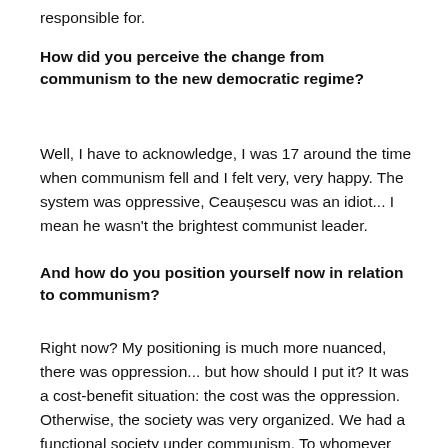responsible for.
How did you perceive the change from communism to the new democratic regime?
Well, I have to acknowledge, I was 17 around the time when communism fell and I felt very, very happy. The system was oppressive, Ceaușescu was an idiot... I mean he wasn't the brightest communist leader.
And how do you position yourself now in relation to communism?
Right now? My positioning is much more nuanced, there was oppression... but how should I put it? It was a cost-benefit situation: the cost was the oppression. Otherwise, the society was very organized. We had a functional society under communism. To whomever disagrees, I